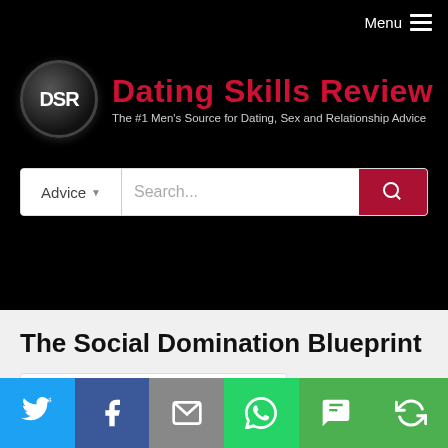Menu
[Figure (logo): DSR Dating Skills Review logo with circular DSR emblem and red bold text 'Dating Skills Review' with subtitle 'The #1 Men's Source for Dating, Sex and Relationship Advice']
[Figure (screenshot): Search bar with Advice dropdown and search input field with red search button]
The Social Domination Blueprint
[Figure (photo): DVD box and disc for 'The Social Domination Blueprint' product]
[Figure (infographic): Social sharing bar with Twitter, Facebook, Email, WhatsApp, SMS, and share buttons]